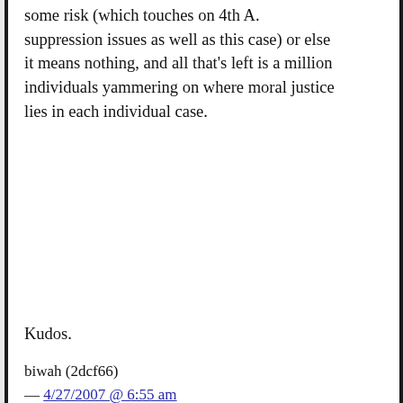some risk (which touches on 4th A. suppression issues as well as this case) or else it means nothing, and all that's left is a million individuals yammering on where moral justice lies in each individual case.
Kudos.
biwah (2dcf66) — 4/27/2007 @ 6:55 am